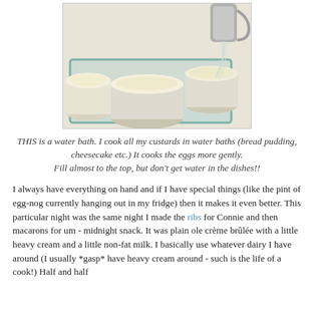[Figure (photo): Photo of custard cups (ramekins) filled with pale yellow custard, set in a glass baking dish acting as a water bath, with liquid being poured in from a metal pitcher.]
THIS is a water bath. I cook all my custards in water baths (bread pudding, cheesecake etc.) It cooks the eggs more gently.
Fill almost to the top, but don't get water in the dishes!!
I always have everything on hand and if I have special things (like the pint of egg-nog currently hanging out in my fridge) then it makes it even better. This particular night was the same night I made the ribs for Connie and then macarons for um - midnight snack. It was plain ole crème brûlée with a little heavy cream and a little non-fat milk. I basically use whatever dairy I have around (I usually *gasp* have heavy cream around - such is the life of a cook!) Half and half